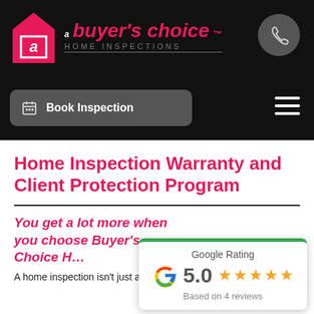[Figure (logo): A Buyer's Choice Home Inspections logo with pink house icon and brand name]
Book Inspection
Home Inspection Warranty and Client Protection Program
You get a lot more when you choose Buyer's Choice H...
A home inspection isn't just about protecting your
[Figure (other): Google Rating popup: 5.0 stars, Based on 4 reviews]